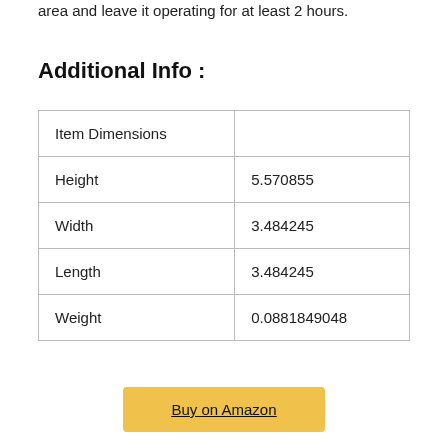area and leave it operating for at least 2 hours.
Additional Info :
| Item Dimensions |  |
| Height | 5.570855 |
| Width | 3.484245 |
| Length | 3.484245 |
| Weight | 0.0881849048 |
Buy on Amazon